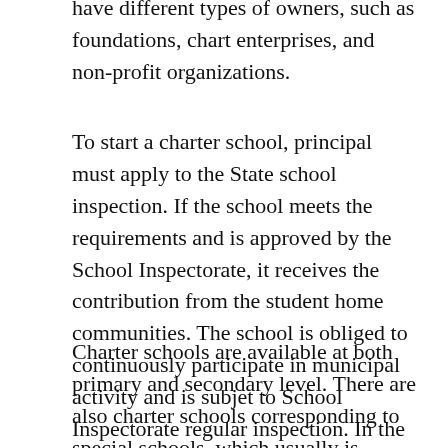have different types of owners, such as foundations, chart enterprises, and non-profit organizations.
To start a charter school, principal must apply to the State school inspection. If the school meets the requirements and is approved by the School Inspectorate, it receives the contribution from the student home communities. The school is obliged to continuously participate in municipal activity and is subjet to School Inspectorate regular inspection. In the case of serious improprieties, the School Inspectorate is to revoke the school's status and entitlement to the refund.
Charter schools are available at both primary and secondary level. There are also charter schools corresponding to special schools, which usually is integrated in a standalone primary school, as well as charter schools corresponding secondary level. Self-contained preschool can also be operated in conjunction